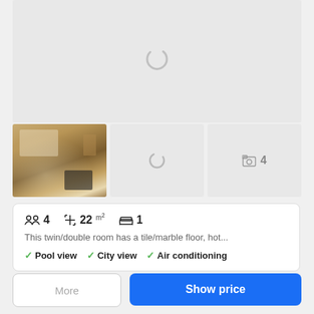[Figure (photo): Large hotel room image area loading (spinner visible), gray placeholder]
[Figure (photo): Thumbnail row: first shows hotel twin/double room photo, second loading spinner, third shows photo count icon with '4']
4   22 m²   1
This twin/double room has a tile/marble floor, hot...
✓ Pool view  ✓ City view  ✓ Air conditioning
More
Show price